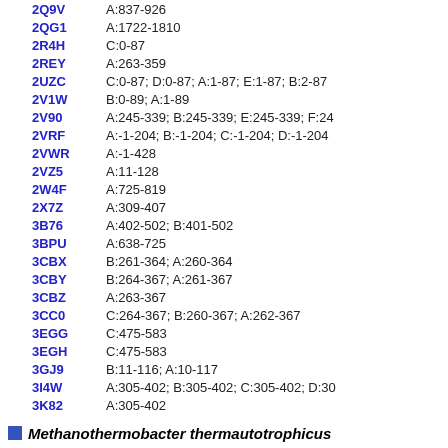| Code | Range |
| --- | --- |
| 2Q9V | A:837-926 |
| 2QG1 | A:1722-1810 |
| 2R4H | C:0-87 |
| 2REY | A:263-359 |
| 2UZC | C:0-87; D:0-87; A:1-87; E:1-87; B:2-87 |
| 2V1W | B:0-89; A:1-89 |
| 2V90 | A:245-339; B:245-339; E:245-339; F:24 |
| 2VRF | A:-1-204; B:-1-204; C:-1-204; D:-1-204 |
| 2VWR | A:-1-428 |
| 2VZ5 | A:11-128 |
| 2W4F | A:725-819 |
| 2X7Z | A:309-407 |
| 3B76 | A:402-502; B:401-502 |
| 3BPU | A:638-725 |
| 3CBX | B:261-364; A:260-364 |
| 3CBY | B:264-367; A:261-367 |
| 3CBZ | A:263-367 |
| 3CC0 | C:264-367; B:260-367; A:262-367 |
| 3EGG | C:475-583 |
| 3EGH | C:475-583 |
| 3GJ9 | B:11-116; A:10-117 |
| 3I4W | A:305-402; B:305-402; C:305-402; D:30 |
| 3K82 | A:305-402 |
| 3PDZ | A:1-96 |
Methanothermobacter thermautotrophicus